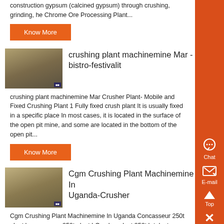construction gypsum (calcined gypsum) through crushing, grinding, he Chrome Ore Processing Plant...
Know More
crushing plant machinemine Mar - bistro-festivalit
crushing plant machinemine Mar Crusher Plant- Mobile and Fixed Crushing Plant 1 Fully fixed crush plant It is usually fixed in a specific place In most cases, it is located in the surface of the open pit mine, and some are located in the bottom of the open pit...
Know More
Cgm Crushing Plant Machinemine In Uganda-Crusher
Cgm Crushing Plant Machinemine In Uganda Concasseur 250t plant hconcasseur 250t plant hCrusher plant 250t h talent connect 200th 250th stone crushing plant 200250th stone crushing plant is used to crush stone with less than 630mm such as , cgm crushing plant machinemine in uganda Email: [email protected] Get a Quote Send Inquiry...